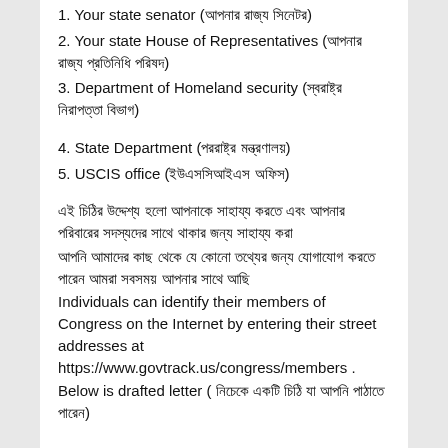1. Your state senator (আপনার রাজ্য সিনেটর)
2. Your state House of Representatives (আপনার রাজ্য প্রতিনিধি পরিষদ)
3. Department of Homeland security (স্বরাষ্ট্র নিরাপত্তা বিভাগ)
4. State Department (পররাষ্ট্র মন্ত্রণালয়)
5. USCIS office (ইউএসসিআইএস অফিস)
এই চিঠির উদ্দেশ্য হলো আপনাকে এবং আপনার পরিবারের সদস্যদের সাহায্য করা
আপনি আমাদের কাছ থেকে যে কোনো তথ্যের জন্য যোগাযোগ করতে পারেন আমরা সবসময় আপনার সাথে আছি
Individuals can identify their members of Congress on the Internet by entering their street addresses at https://www.govtrack.us/congress/members .
Below is drafted letter ( নিচেকে একটি চিঠি যা আপনি পাঠাতে পারেন)